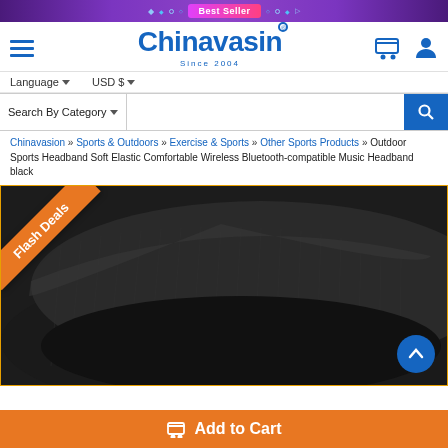Best Seller
[Figure (logo): Chinavasion logo with hamburger menu icon, Since 2004 tagline, cart and user icons]
Language ▼   USD $ ▼
Search By Category ▼
Chinavasion » Sports & Outdoors » Exercise & Sports » Other Sports Products » Outdoor Sports Headband Soft Elastic Comfortable Wireless Bluetooth-compatible Music Headband black
[Figure (photo): Black wireless Bluetooth headband product photo with Flash Deals ribbon in orange on top-left corner and scroll-up button on bottom-right]
Add to Cart